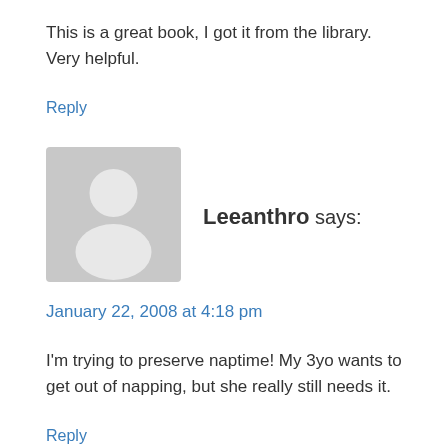This is a great book, I got it from the library. Very helpful.
Reply
[Figure (illustration): Grey avatar/user silhouette icon]
Leeanthro says:
January 22, 2008 at 4:18 pm
I'm trying to preserve naptime! My 3yo wants to get out of napping, but she really still needs it.
Reply
[Figure (illustration): Grey avatar/user silhouette icon]
PJHANSEN65 says: